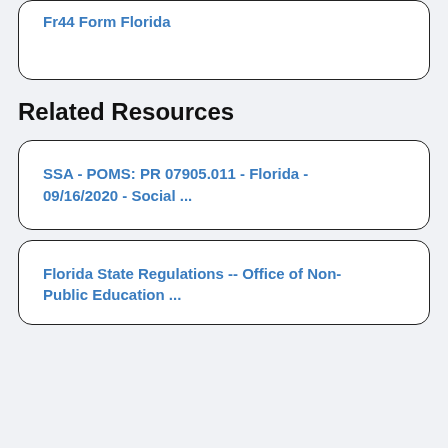Fr44 Form Florida
Related Resources
SSA - POMS: PR 07905.011 - Florida - 09/16/2020 - Social ...
Florida State Regulations -- Office of Non-Public Education ...